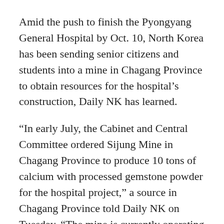Amid the push to finish the Pyongyang General Hospital by Oct. 10, North Korea has been sending senior citizens and students into a mine in Chagang Province to obtain resources for the hospital's construction, Daily NK has learned.
“In early July, the Cabinet and Central Committee ordered Sijung Mine in Chagang Province to produce 10 tons of calcium with processed gemstone powder for the hospital project,” a source in Chagang Province told Daily NK on Tuesday. “The mine is currently operating at full capacity, with laborers working in 22 hour shifts every day under the supervision of the mine’s management.”
Sijung Mine, which is located in Sijung County, contains limestone and is famous for its deposits of